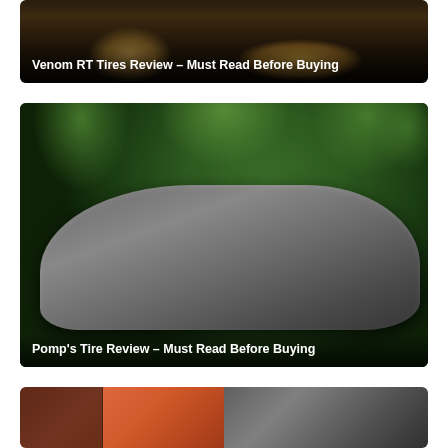[Figure (photo): Off-road truck with large knobby tires on dark background, partial view showing lower chassis and wheels]
Venom RT Tires Review – Must Read Before Buying
[Figure (photo): Matte gray Mercedes-AMG GT sports car parked in front of lush green trees]
Pomp's Tire Review – Must Read Before Buying
[Figure (photo): Partial view of car image split into two halves: orange/copper car body on left and dark stormy sky on right]